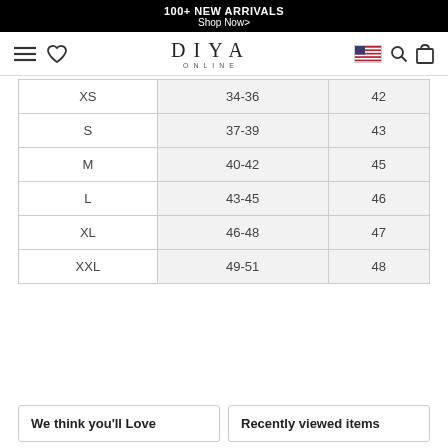100+ NEW ARRIVALS
Shop Now>
[Figure (screenshot): DIYA ONLINE logo with navigation icons (hamburger menu, heart, US flag, search, cart)]
| XS | 34-36 | 42 |
| S | 37-39 | 43 |
| M | 40-42 | 45 |
| L | 43-45 | 46 |
| XL | 46-48 | 47 |
| XXL | 49-51 | 48 |
We think you'll Love
Recently viewed items